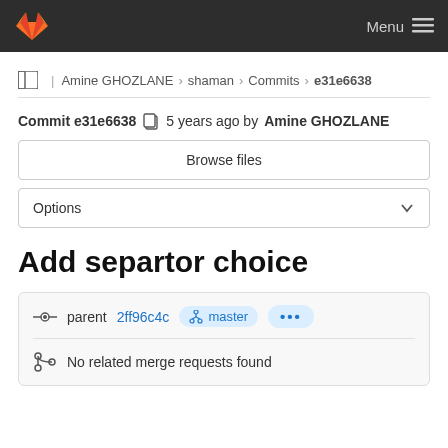GitLab Menu
Amine GHOZLANE > shaman > Commits > e31e6638
Commit e31e6638  5 years ago by Amine GHOZLANE
Browse files
Options
Add separtor choice
parent 2ff96c4c  master  ...
No related merge requests found